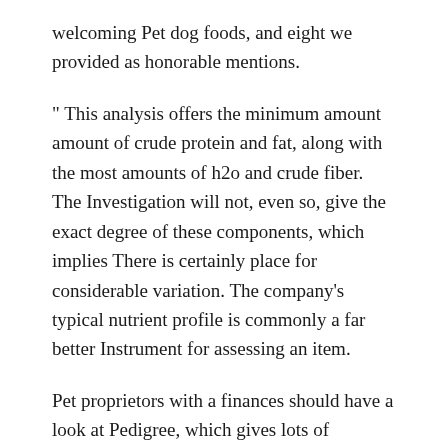welcoming Pet dog foods, and eight we provided as honorable mentions.
" This analysis offers the minimum amount amount of crude protein and fat, along with the most amounts of h2o and crude fiber. The Investigation will not, even so, give the exact degree of these components, which implies There is certainly place for considerable variation. The company’s typical nutrient profile is commonly a far better Instrument for assessing an item.
Pet proprietors with a finances should have a look at Pedigree, which gives lots of nutritionally-confirmed formulation for various Canine dimensions and ages.
Sample consumer review… “She appears to be shedding